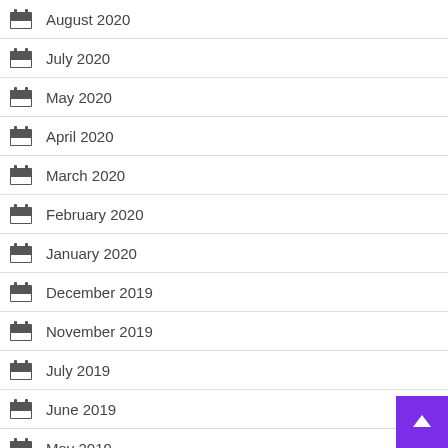August 2020
July 2020
May 2020
April 2020
March 2020
February 2020
January 2020
December 2019
November 2019
July 2019
June 2019
May 2019
March 2019